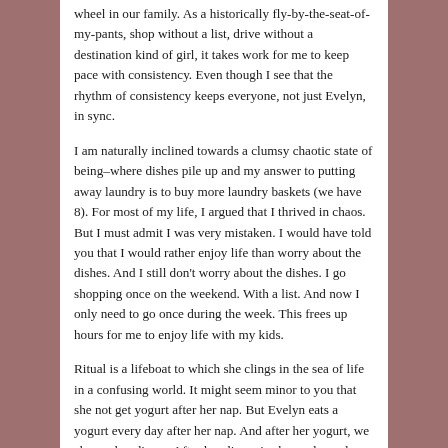wheel in our family. As a historically fly-by-the-seat-of-my-pants, shop without a list, drive without a destination kind of girl, it takes work for me to keep pace with consistency. Even though I see that the rhythm of consistency keeps everyone, not just Evelyn, in sync.
I am naturally inclined towards a clumsy chaotic state of being–where dishes pile up and my answer to putting away laundry is to buy more laundry baskets (we have 8). For most of my life, I argued that I thrived in chaos. But I must admit I was very mistaken. I would have told you that I would rather enjoy life than worry about the dishes. And I still don't worry about the dishes. I go shopping once on the weekend. With a list. And now I only need to go once during the week. This frees up hours for me to enjoy life with my kids.
Ritual is a lifeboat to which she clings in the sea of life in a confusing world. It might seem minor to you that she not get yogurt after her nap. But Evelyn eats a yogurt every day after her nap. And after her yogurt, we change her diaper. After her diaper is changed we play (which does